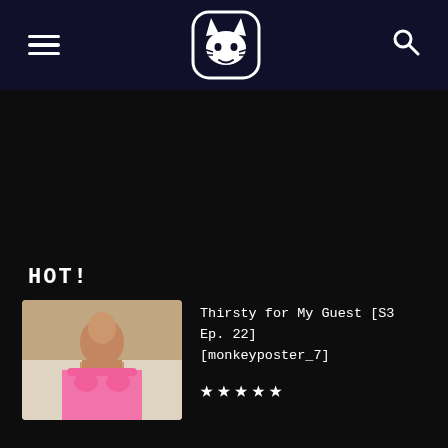HOT! navigation header with hamburger menu, cat logo, and search icon
HOT!
[Figure (photo): Thumbnail image of a woman in a pink bikini top]
Thirsty for My Guest [S3 Ep. 22]
[monkeyposter_7]
★★★★★